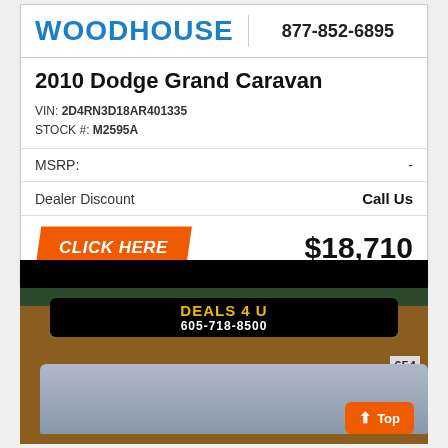[Figure (logo): Woodhouse dealership logo in bold blue uppercase letters]
877-852-6895
2010 Dodge Grand Caravan
VIN: 2D4RN3D18AR401335
STOCK #: M2595A
MSRP: -
Dealer Discount    Call Us
CLICK HERE    $18,710
[Figure (photo): Photo of a Deals 4 U dealership building with sign showing 605-718-8500, a silver minivan parked in front]